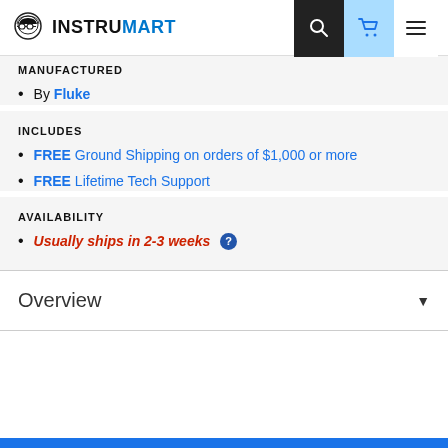INSTRUMART
MANUFACTURED
By Fluke
INCLUDES
FREE Ground Shipping on orders of $1,000 or more
FREE Lifetime Tech Support
AVAILABILITY
Usually ships in 2-3 weeks
Overview